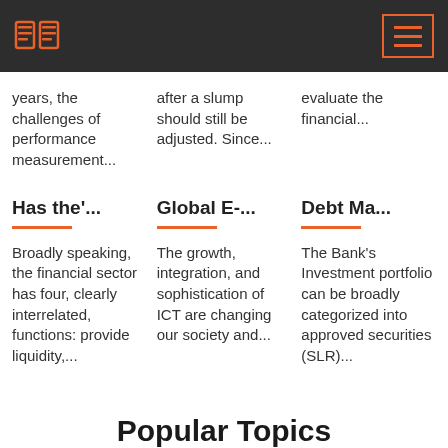years, the challenges of performance measurement...
after a slump should still be adjusted. Since...
evaluate the financial...
Has the'...
Global E-...
Debt Ma...
Broadly speaking, the financial sector has four, clearly interrelated, functions: provide liquidity,...
The growth, integration, and sophistication of ICT are changing our society and...
The Bank's Investment portfolio can be broadly categorized into approved securities (SLR)...
Popular Topics